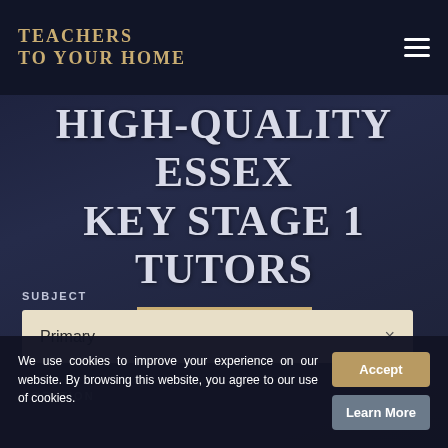TEACHERS TO YOUR HOME
HIGH-QUALITY ESSEX KEY STAGE 1 TUTORS
SUBJECT
Primary ×
LOCATION
We use cookies to improve your experience on our website. By browsing this website, you agree to our use of cookies.
Accept
Learn More